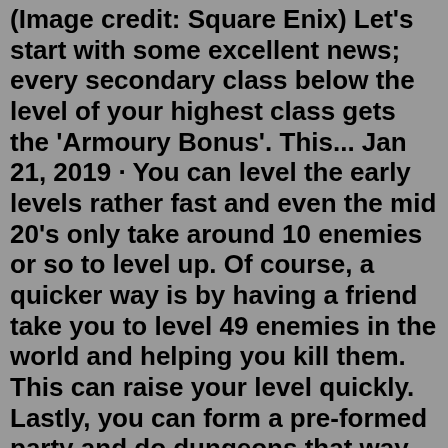(Image credit: Square Enix) Let's start with some excellent news; every secondary class below the level of your highest class gets the 'Armoury Bonus'. This... Jan 21, 2019 · You can level the early levels rather fast and even the mid 20's only take around 10 enemies or so to level up. Of course, a quicker way is by having a friend take you to level 49 enemies in the world and helping you kill them. This can raise your level quickly. Lastly, you can form a pre-formed party and do dungeons that way. Completed via The Ties that Bind Special Quest. Requires you to equip promise wristlet, which requires a class at level 50. Talan 's sale of of Master Crafting Tomes, Tools, Gear, and Items for DoH/DoL classes unlocked via the Just Tooling Around sidequest. Relic Weapon Path: Jul 27, 2021 · As we all know, leveling up is the most important thing in FFXIV as it allows you to take on new quests, start new jobs, unlock dungeons, and more. But, in later levels especially, grinding up to the next can feel like a massive chore. Here are the best ways to level up in Final Fantasy 14. Dec 03, 2021 ·